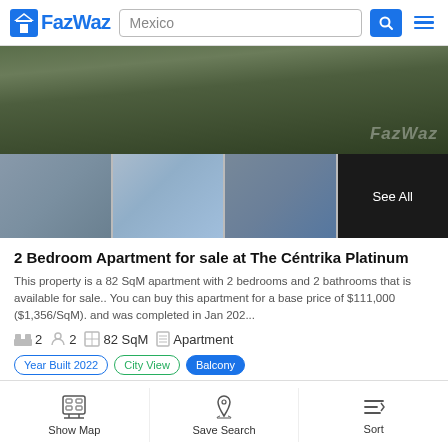FazWaz | Mexico
[Figure (photo): Aerial/exterior photo of The Céntrika Platinum apartment complex with greenery, main image plus three thumbnail images and a 'See All' panel]
2 Bedroom Apartment for sale at The Céntrika Platinum
This property is a 82 SqM apartment with 2 bedrooms and 2 bathrooms that is available for sale.. You can buy this apartment for a base price of $111,000 ($1,356/SqM). and was completed in Jan 202...
2 bedrooms  2 bathrooms  82 SqM  Apartment
Year Built 2022  City View  Balcony
Request Details
Apa...  $91,300 ($1,014/SqM)
Show Map  Save Search  Sort